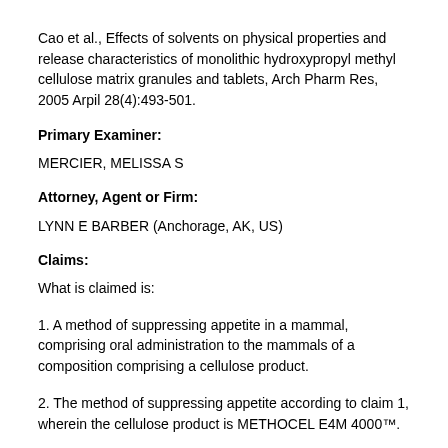Cao et al., Effects of solvents on physical properties and release characteristics of monolithic hydroxypropyl methyl cellulose matrix granules and tablets, Arch Pharm Res, 2005 Arpil 28(4):493-501.
Primary Examiner:
MERCIER, MELISSA S
Attorney, Agent or Firm:
LYNN E BARBER (Anchorage, AK, US)
Claims:
What is claimed is:
1. A method of suppressing appetite in a mammal, comprising oral administration to the mammals of a composition comprising a cellulose product.
2. The method of suppressing appetite according to claim 1, wherein the cellulose product is METHOCEL E4M 4000™.
3. The method of suppressing appetite according to claim 1, wherein the composition is formed by mixing the cellulose product with alcohol to form a